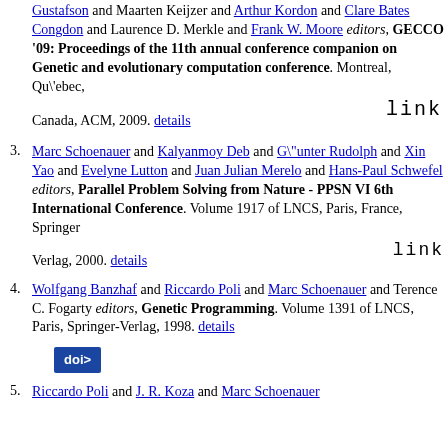Gustafson and Maarten Keijzer and Arthur Kordon and Clare Bates Congdon and Laurence D. Merkle and Frank W. Moore editors, GECCO '09: Proceedings of the 11th annual conference companion on Genetic and evolutionary computation conference. Montreal, Qu\'ebec, Canada, ACM, 2009. details [link]
3. Marc Schoenauer and Kalyanmoy Deb and G\"unter Rudolph and Xin Yao and Evelyne Lutton and Juan Julian Merelo and Hans-Paul Schwefel editors, Parallel Problem Solving from Nature - PPSN VI 6th International Conference. Volume 1917 of LNCS, Paris, France, Springer Verlag, 2000. details [link]
4. Wolfgang Banzhaf and Riccardo Poli and Marc Schoenauer and Terence C. Fogarty editors, Genetic Programming. Volume 1391 of LNCS, Paris, Springer-Verlag, 1998. details [doi>]
5. Riccardo Poli and ...